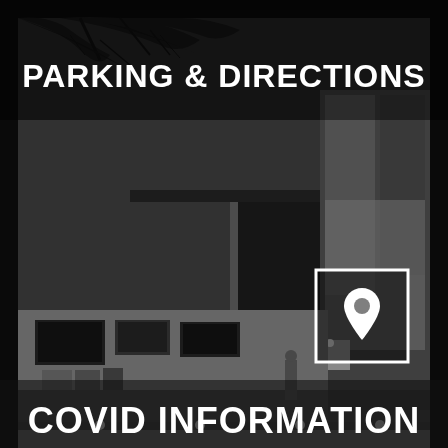[Figure (photo): Black and white photograph of a building exterior entrance at night, with illuminated ceiling lights, glass doors, display panels on walls, and tree branches visible at top]
PARKING & DIRECTIONS
[Figure (other): White square outline icon containing a map location pin/marker symbol]
COVID INFORMATION